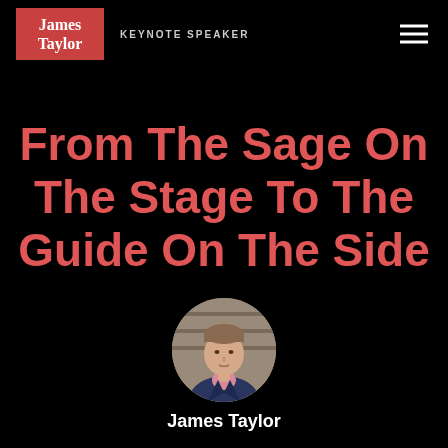James Taylor KEYNOTE SPEAKER
From The Sage On The Stage To The Guide On The Side
[Figure (photo): Circular headshot photo of James Taylor, a man in a navy blazer and pink shirt, against a blurred background of wooden steps]
James Taylor